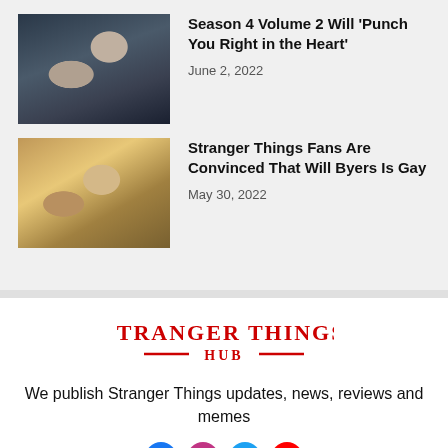[Figure (photo): Scene from Stranger Things Season 4, character with hands on head, dramatic expression]
Season 4 Volume 2 Will 'Punch You Right in the Heart'
June 2, 2022
[Figure (photo): Scene from Stranger Things, Will Byers sitting in classroom in striped shirt]
Stranger Things Fans Are Convinced That Will Byers Is Gay
May 30, 2022
[Figure (logo): Stranger Things Hub logo in red]
We publish Stranger Things updates, news, reviews and memes